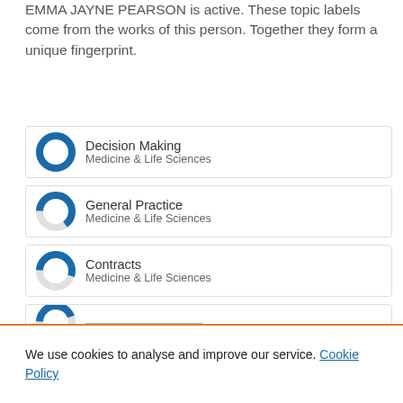Dive into the research topics where EMMA JAYNE PEARSON is active. These topic labels come from the works of this person. Together they form a unique fingerprint.
Decision Making — Medicine & Life Sciences — 100%
General Practice — Medicine & Life Sciences — ~65%
Contracts — Medicine & Life Sciences — ~55%
(partially visible fourth item)
We use cookies to analyse and improve our service. Cookie Policy